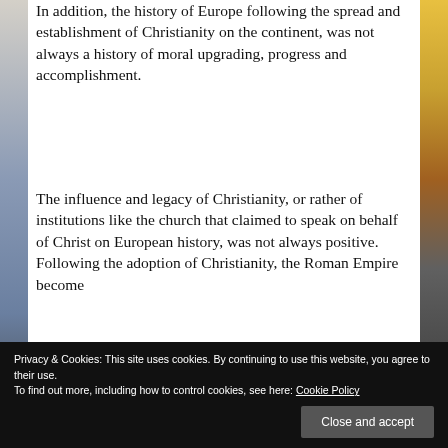In addition, the history of Europe following the spread and establishment of Christianity on the continent, was not always a history of moral upgrading, progress and accomplishment.
The influence and legacy of Christianity, or rather of institutions like the church that claimed to speak on behalf of Christ on European history, was not always positive. Following the adoption of Christianity, the Roman Empire become
were seriously contemplating in the first
Privacy & Cookies: This site uses cookies. By continuing to use this website, you agree to their use.
To find out more, including how to control cookies, see here: Cookie Policy